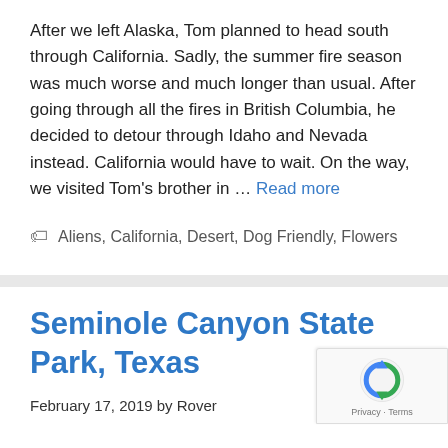After we left Alaska, Tom planned to head south through California. Sadly, the summer fire season was much worse and much longer than usual. After going through all the fires in British Columbia, he decided to detour through Idaho and Nevada instead. California would have to wait. On the way, we visited Tom's brother in … Read more
🏷 Aliens, California, Desert, Dog Friendly, Flowers
Seminole Canyon State Park, Texas
February 17, 2019 by Rover